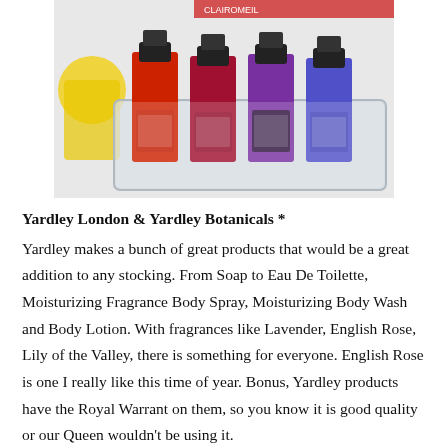[Figure (photo): A plastic tray holding four small bottles of nail polish in red, dark red, purple, and blue colors, with a partial yellow glass visible on the left. The nail polish bottles have Clairomeil branding.]
Yardley London & Yardley Botanicals *
Yardley makes a bunch of great products that would be a great addition to any stocking. From Soap to Eau De Toilette, Moisturizing Fragrance Body Spray, Moisturizing Body Wash and Body Lotion. With fragrances like Lavender, English Rose, Lily of the Valley, there is something for everyone. English Rose is one I really like this time of year. Bonus, Yardley products have the Royal Warrant on them, so you know it is good quality or our Queen wouldn't be using it.